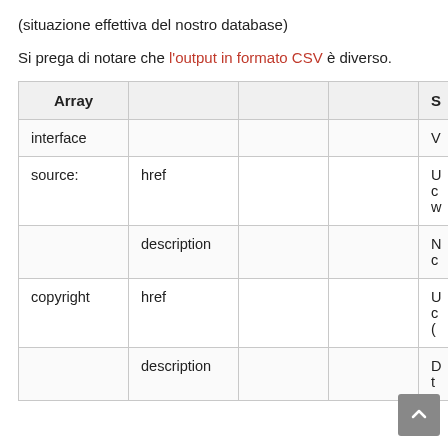(situazione effettiva del nostro database)
Si prega di notare che l'output in formato CSV è diverso.
| Array |  |  |  | S |
| --- | --- | --- | --- | --- |
| interface |  |  |  | V |
| source: | href |  |  | U c w |
|  | description |  |  | N c |
| copyright | href |  |  | U c ( |
|  | description |  |  | D t |